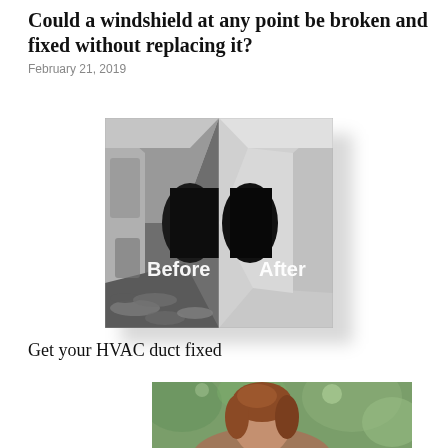Could a windshield at any point be broken and fixed without replacing it?
February 21, 2019
[Figure (photo): Before and after comparison of an HVAC duct interior. Left side shows dirty, debris-filled duct labeled 'Before'. Right side shows clean duct labeled 'After'.]
Get your HVAC duct fixed
[Figure (photo): Partial photo of a woman with reddish-brown hair against a green background, cropped at bottom of page.]